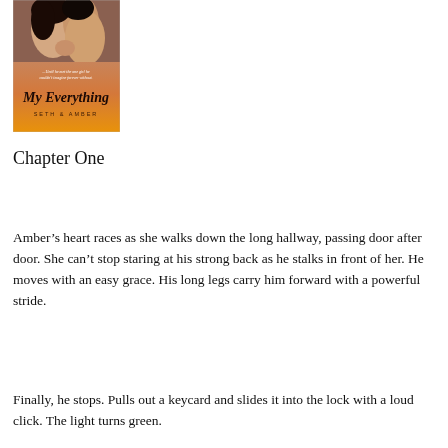[Figure (illustration): Book cover for 'My Everything' by Seth & Amber. Features a romantic couple in an embrace on an orange/amber background with the text '...Until he met the one girl he couldn't imagine forever without.' Title in cursive script, authors listed below.]
Chapter One
Amber’s heart races as she walks down the long hallway, passing door after door. She can’t stop staring at his strong back as he stalks in front of her. He moves with an easy grace. His long legs carry him forward with a powerful stride.
Finally, he stops. Pulls out a keycard and slides it into the lock with a loud click. The light turns green.